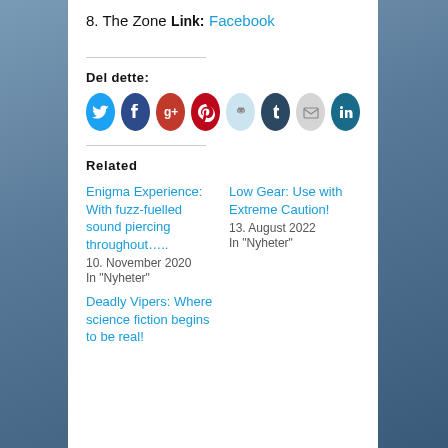8. The Zone
Link:
Facebook
Del dette:
[Figure (infographic): Row of 8 social sharing icon circles: Twitter (blue), Facebook (dark blue), Google+ (orange-red), Pinterest (red), Reddit (light blue), Tumblr (dark blue), Email (grey), LinkedIn (dark teal)]
Related
Enigma Experience: With fuzz-fuelled sound piercing throughout…..
10. November 2020
In "Nyheter"
Low Gear: Use with Extreme Caution!
13. August 2022
In "Nyheter"
Deadly Vipers: Where science fiction begins to be real!